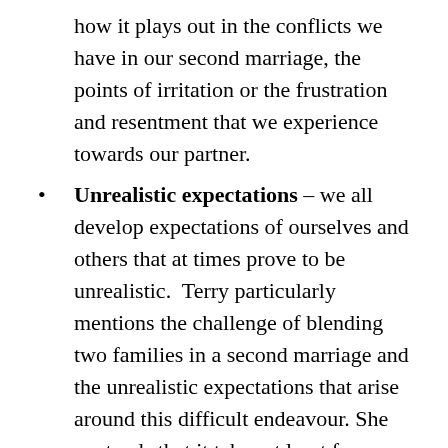how it plays out in the conflicts we have in our second marriage, the points of irritation or the frustration and resentment that we experience towards our partner.
Unrealistic expectations – we all develop expectations of ourselves and others that at times prove to be unrealistic. Terry particularly mentions the challenge of blending two families in a second marriage and the unrealistic expectations that arise around this difficult endeavour. She contends that it takes at least four years for a partner in a second marriage to negotiate and achieve a balanced relationship with a stepchild (even longer for “stepchildren”). Through meditation and reflection, we can